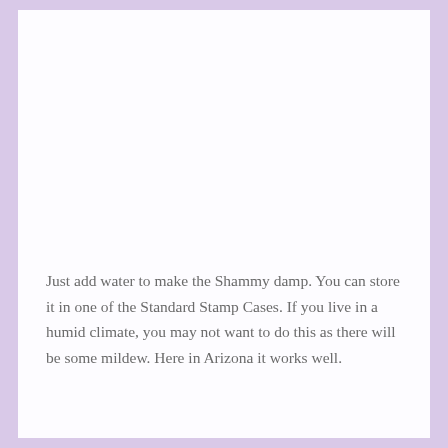Just add water to make the Shammy damp. You can store it in one of the Standard Stamp Cases. If you live in a humid climate, you may not want to do this as there will be some mildew. Here in Arizona it works well.